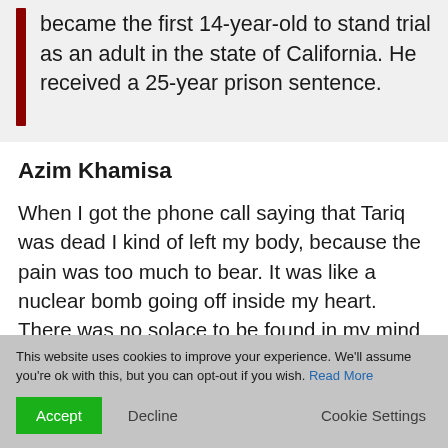became the first 14-year-old to stand trial as an adult in the state of California. He received a 25-year prison sentence.
Azim Khamisa
When I got the phone call saying that Tariq was dead I kind of left my body, because the pain was too much to bear. It was like a nuclear bomb going off inside my heart. There was no solace to be found in my mind and so, as a Sufi Muslim, I turned to my
This website uses cookies to improve your experience. We'll assume you're ok with this, but you can opt-out if you wish. Read More